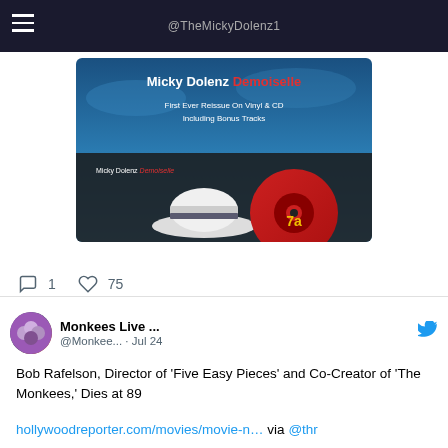@TheMickyDolenz1
[Figure (photo): Micky Dolenz Demoiselle album cover showing vinyl reissue art: blue sky background, white fedora hat, red vinyl record, text 'First Ever Reissue On Vinyl & CD Including Bonus Tracks']
1  75
Monkees Live ...  @Monkee...  · Jul 24
Bob Rafelson, Director of 'Five Easy Pieces' and Co-Creator of 'The Monkees,' Dies at 89
hollywoodreporter.com/movies/movie-n… via @thr
[Figure (photo): Photo of Bob Rafelson wearing a tan/straw hat outdoors, partial view, light blue shirt]